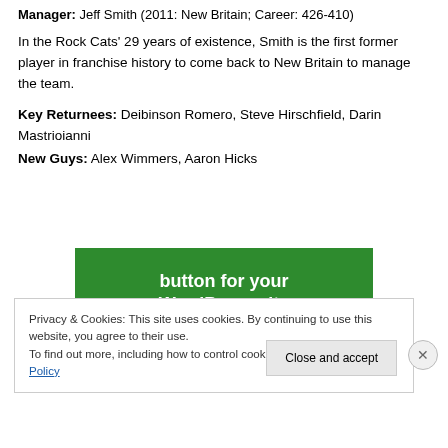Manager: Jeff Smith (2011: New Britain; Career: 426-410)
In the Rock Cats' 29 years of existence, Smith is the first former player in franchise history to come back to New Britain to manage the team.
Key Returnees: Deibinson Romero, Steve Hirschfield, Darin Mastrioianni
New Guys: Alex Wimmers, Aaron Hicks
[Figure (other): Green advertisement banner for WordPress site with white bold text reading 'button for your WordPress site']
Privacy & Cookies: This site uses cookies. By continuing to use this website, you agree to their use.
To find out more, including how to control cookies, see here: Cookie Policy
Close and accept